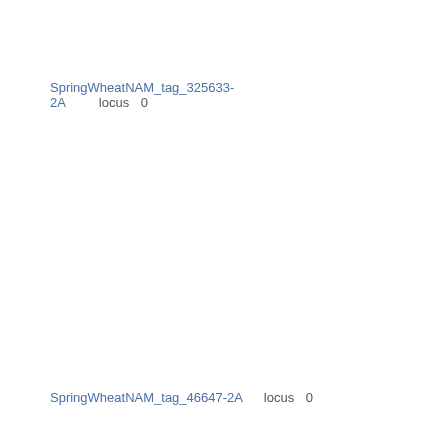BxPI8813_2A
SpringWheatNAM_tag_325633-2A   locus   0
Wheat ABD - Wheat-2018-NAM23-Berkut-x-PI192001 - Wheat-2018-NAM23-BxPI19200...
Wheat ABD - Wheat-2018-NAM13-Berkut-x-PI262611 - Wheat-2018-NAM13-BxPI2626...
Wheat ABD - Wheat-2018-NAM17-Berkut-x-PI... - Wheat-2018-NAM17-BxPI82469_2A
Wheat ABD - Wheat-2018-NAM14-Berkut-x-PI... - Wheat-2018-NAM14-BxPI70613_2A
Wheat ABD - Wheat-2018-NAM15-Berkut-x-C... - Wheat-2018-NAM15-BxCItr7635_2A
Wheat ABD - Wheat-2018-NAM5-Berkut-x-PI... - Wheat-2018-NAM5-BxPI382150_2A
SpringWheatNAM_tag_46647-2A   locus   0
Wheat ABD - Whe...